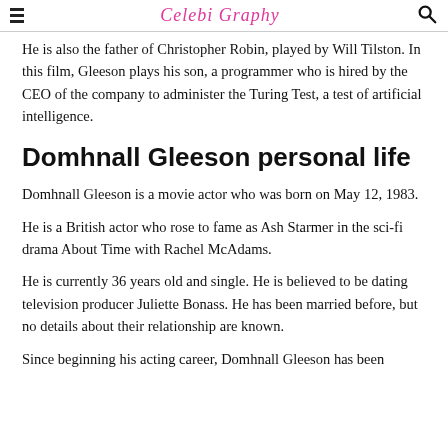CelebiGraphy
He is also the father of Christopher Robin, played by Will Tilston. In this film, Gleeson plays his son, a programmer who is hired by the CEO of the company to administer the Turing Test, a test of artificial intelligence.
Domhnall Gleeson personal life
Domhnall Gleeson is a movie actor who was born on May 12, 1983.
He is a British actor who rose to fame as Ash Starmer in the sci-fi drama About Time with Rachel McAdams.
He is currently 36 years old and single. He is believed to be dating television producer Juliette Bonass. He has been married before, but no details about their relationship are known.
Since beginning his acting career, Domhnall Gleeson has been